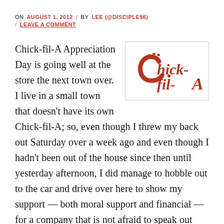ON AUGUST 1, 2012 / BY LEE (@DISCIPLE96) / LEAVE A COMMENT
[Figure (logo): Chick-fil-A logo in red/brown cursive script on white background with border]
Chick-fil-A Appreciation Day is going well at the store the next town over. I live in a small town that doesn't have its own Chick-fil-A; so, even though I threw my back out Saturday over a week ago and even though I hadn't been out of the house since then until yesterday afternoon, I did manage to hobble out to the car and drive over here to show my support — both moral support and financial — for a company that is not afraid to speak out and stand up for Christian values amidst a